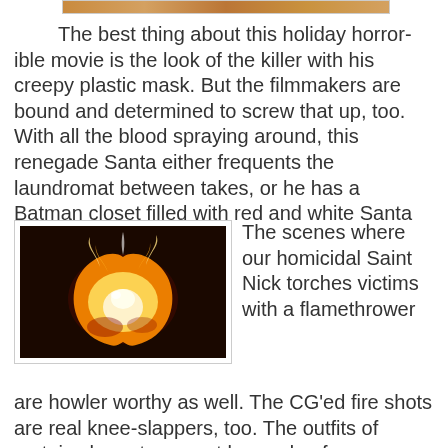[Figure (photo): Top edge of a photo strip showing what appears to be a movie scene]
The best thing about this holiday horror-ible movie is the look of the killer with his creepy plastic mask. But the filmmakers are bound and determined to screw that up, too. With all the blood spraying around, this renegade Santa either frequents the laundromat between takes, or he has a Batman closet filled with red and white Santa suits.
[Figure (photo): A fireball or explosion on a dark background, glowing yellow-white with flame tendrils]
The scenes where our homicidal Saint Nick torches victims with a flamethrower are howler worthy as well. The CG'ed fire shots are real knee-slappers, too. The outfits of certain characters must be made of some Titanium alloy, futuristic fireproof material. The camera lingers on